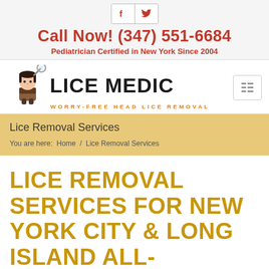Call Now! (347) 551-6684
Pediatrician Certified in New York Since 2004
[Figure (logo): Lice Medic logo with cartoon mascot child and magnifying glass. Tagline: WORRY-FREE HEAD LICE REMOVAL]
Lice Removal Services
You are here:  Home  /  Lice Removal Services
LICE REMOVAL SERVICES FOR NEW YORK CITY & LONG ISLAND ALL-NATURAL, NON-TOXIC, CHEMICAL-FREE TREATMENTS